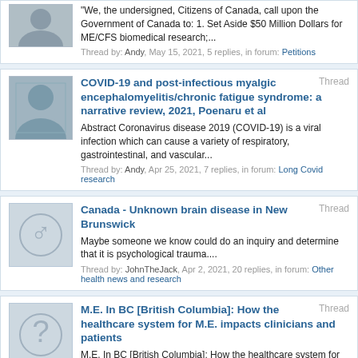"We, the undersigned, Citizens of Canada, call upon the Government of Canada to: 1. Set Aside $50 Million Dollars for ME/CFS biomedical research;...
Thread by: Andy, May 15, 2021, 5 replies, in forum: Petitions
COVID-19 and post-infectious myalgic encephalomyelitis/chronic fatigue syndrome: a narrative review, 2021, Poenaru et al
Abstract Coronavirus disease 2019 (COVID-19) is a viral infection which can cause a variety of respiratory, gastrointestinal, and vascular...
Thread by: Andy, Apr 25, 2021, 7 replies, in forum: Long Covid research
Canada - Unknown brain disease in New Brunswick
Maybe someone we know could do an inquiry and determine that it is psychological trauma....
Thread by: JohnTheJack, Apr 2, 2021, 20 replies, in forum: Other health news and research
M.E. In BC [British Columbia]: How the healthcare system for M.E. impacts clinicians and patients
M.E. In BC [British Columbia]: How the healthcare system for M.E.